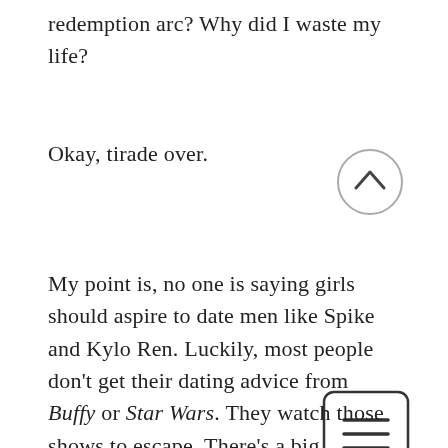redemption arc? Why did I waste my life?
Okay, tirade over.
[Figure (other): Circle button with upward chevron arrow icon]
[Figure (other): Rounded rectangle menu button with three horizontal lines (hamburger menu icon)]
My point is, no one is saying girls should aspire to date men like Spike and Kylo Ren. Luckily, most people don't get their dating advice from Buffy or Star Wars. They watch those shows to escape. There's a big difference between a fictional pirate and a real